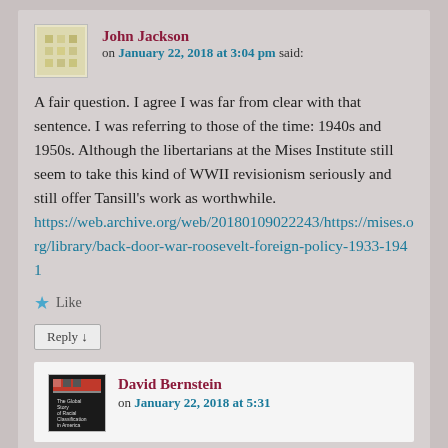John Jackson
on January 22, 2018 at 3:04 pm said:
A fair question. I agree I was far from clear with that sentence. I was referring to those of the time: 1940s and 1950s. Although the libertarians at the Mises Institute still seem to take this kind of WWII revisionism seriously and still offer Tansill's work as worthwhile. https://web.archive.org/web/20180109022243/https://mises.org/library/back-door-war-roosevelt-foreign-policy-1933-1941
Like
Reply ↓
David Bernstein
on January 22, 2018 at 5:31